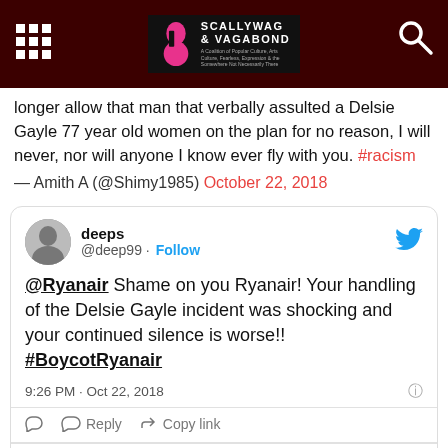Scallywag & Vagabond
longer allow that man that verbally assulted a Delsie Gayle 77 year old women on the plan for no reason, I will never, nor will anyone I know ever fly with you. #racism
— Amith A (@Shimy1985) October 22, 2018
[Figure (screenshot): Embedded tweet from @deep99 (deeps): '@Ryanair Shame on you Ryanair! Your handling of the Delsie Gayle incident was shocking and your continued silence is worse!! #BoycotRyanair' posted at 9:26 PM · Oct 22, 2018, with Reply and Copy link actions, and 'Explore what's happening on Twitter' footer.]